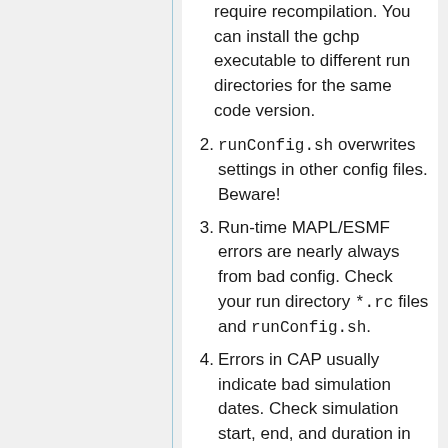(continuation) require recompilation. You can install the gchp executable to different run directories for the same code version.
2. runConfig.sh overwrites settings in other config files. Beware!
3. Run-time MAPL/ESMF errors are nearly always from bad config. Check your run directory *.rc files and runConfig.sh.
4. Errors in CAP usually indicate bad simulation dates. Check simulation start, end, and duration in config file runConfig.sh.
5. ExtData errors indicate a problem in input. Check config files ExtData.rc and HEMCO_Config.rc.
6. MAPL History error is problem